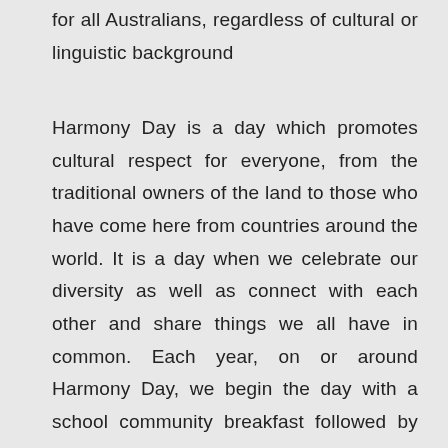for all Australians, regardless of cultural or linguistic background
Harmony Day is a day which promotes cultural respect for everyone, from the traditional owners of the land to those who have come here from countries around the world. It is a day when we celebrate our diversity as well as connect with each other and share things we all have in common. Each year, on or around Harmony Day, we begin the day with a school community breakfast followed by special activities throughout the day. At the end of the school day we join together for a Harmony Day